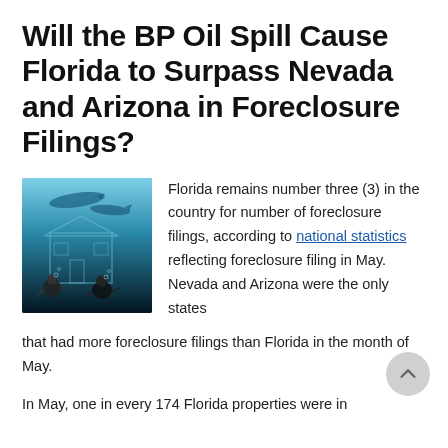Will the BP Oil Spill Cause Florida to Surpass Nevada and Arizona in Foreclosure Filings?
[Figure (photo): Underwater scene with sharks and a house submerged, two scuba divers in foreground — illustrating the BP oil spill and housing foreclosure theme.]
Florida remains number three (3) in the country for number of foreclosure filings, according to national statistics reflecting foreclosure filing in May. Nevada and Arizona were the only states that had more foreclosure filings than Florida in the month of May.
In May, one in every 174 Florida properties were in